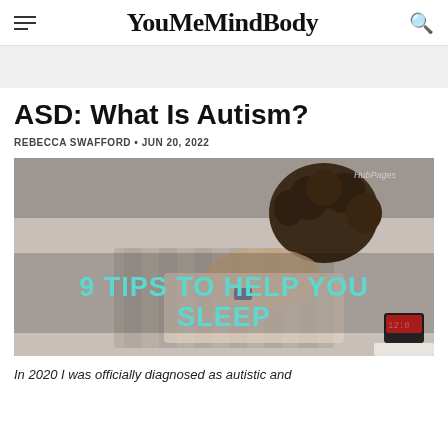YouMeMindBody
ASD: What Is Autism?
REBECCA SWAFFORD • JUN 20, 2022
[Figure (photo): Person lying in bed with pillow, overlaid with text '9 TIPS TO HELP YOU SLEEP' in teal, and HubPages watermark in top right corner]
In 2020 I was officially diagnosed as autistic and